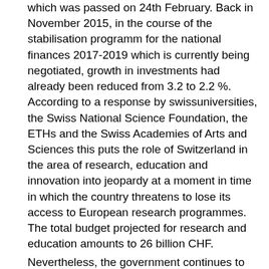which was passed on 24th February. Back in November 2015, in the course of the stabilisation programm for the national finances 2017-2019 which is currently being negotiated, growth in investments had already been reduced from 3.2 to 2.2 %.  According to a response by swissuniversities, the Swiss National Science Foundation, the ETHs and the Swiss Academies of Arts and Sciences this puts the role of Switzerland in the area of research, education and innovation into jeopardy at a moment in time in which the country threatens to lose its access to European research programmes. The total budget projected for research and education amounts to 26 billion CHF.
Nevertheless, the government continues to promote its key project in the areas higher professional education, support of young researchers, medicine and innovation. On the topic of support for young researchers the government writes:
"Highly qualified yound researchers are of the utmost